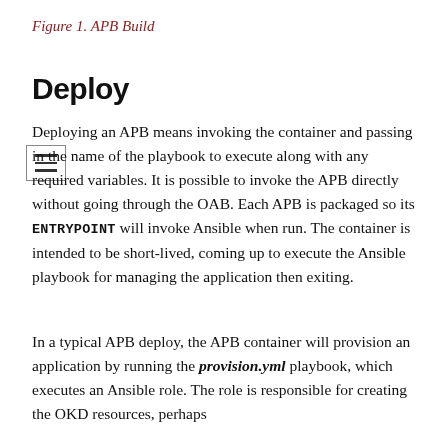Figure 1. APB Build
Deploy
Deploying an APB means invoking the container and passing in the name of the playbook to execute along with any required variables. It is possible to invoke the APB directly without going through the OAB. Each APB is packaged so its ENTRYPOINT will invoke Ansible when run. The container is intended to be short-lived, coming up to execute the Ansible playbook for managing the application then exiting.
In a typical APB deploy, the APB container will provision an application by running the provision.yml playbook, which executes an Ansible role. The role is responsible for creating the OKD resources, perhaps